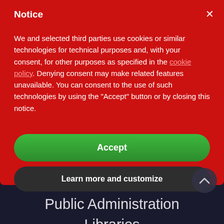Notice
We and selected third parties use cookies or similar technologies for technical purposes and, with your consent, for other purposes as specified in the cookie policy. Denying consent may make related features unavailable. You can consent to the use of such technologies by using the "Accept" button or by closing this notice.
Accept
Learn more and customize
Public Administration
Libraries
Documentary Archives
Banking institutions
Film and audiovisual